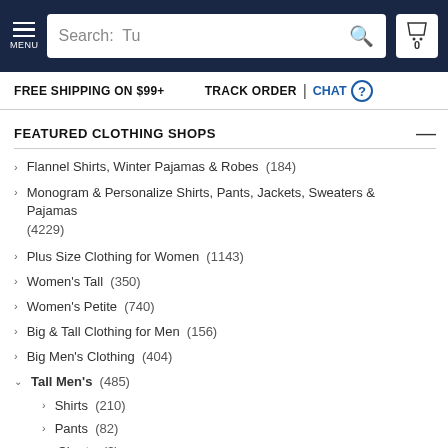MENU | Search: Tu | 0
FREE SHIPPING ON $99+   TRACK ORDER | CHAT
FEATURED CLOTHING SHOPS
Flannel Shirts, Winter Pajamas & Robes  (184)
Monogram & Personalize Shirts, Pants, Jackets, Sweaters & Pajamas
(4229)
Plus Size Clothing for Women  (1143)
Women's Tall  (350)
Women's Petite  (740)
Big & Tall Clothing for Men  (156)
Big Men's Clothing  (404)
Tall Men's  (485)
Shirts  (210)
Pants  (82)
Shorts  (3)
Sweaters  (45)